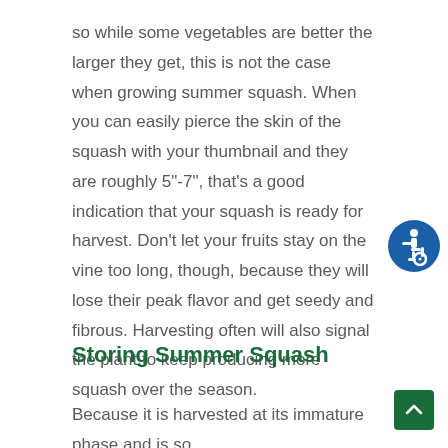so while some vegetables are better the larger they get, this is not the case when growing summer squash. When you can easily pierce the skin of the squash with your thumbnail and they are roughly 5"-7", that's a good indication that your squash is ready for harvest. Don't let your fruits stay on the vine too long, though, because they will lose their peak flavor and get seedy and fibrous. Harvesting often will also signal the plant to keep producing more squash over the season.
[Figure (illustration): Blue circle accessibility icon with white wheelchair user symbol]
Storing Summer Squash
[Figure (illustration): Dark green square button with white upward-pointing chevron arrow (scroll to top button)]
Because it is harvested at its immature phase and is so